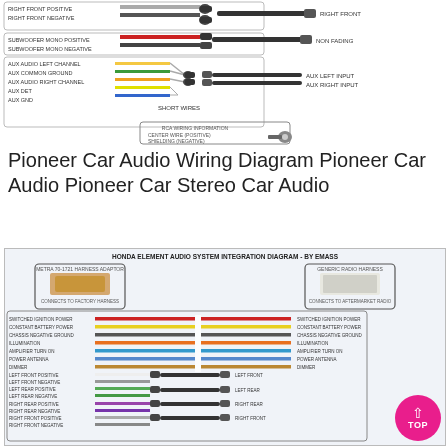[Figure (engineering-diagram): Top portion of Pioneer Car Audio wiring diagram showing RCA connectors with labeled wires: Right Front Positive, Right Front Negative (connecting to RIGHT FRONT), Subwoofer Mono Positive, Subwoofer Mono Negative (connecting to NON FADING), Aux Audio Left Channel, Aux Common Ground, Aux Audio Right Channel, Aux Det, Aux Gnd (connecting to AUX LEFT INPUT, AUX RIGHT INPUT, SHORT WIRES). Also shows RCA wiring info box with CENTER WIRE (POSITIVE) and SHIELDING (NEGATIVE).]
Pioneer Car Audio Wiring Diagram Pioneer Car Audio Pioneer Car Stereo Car Audio
[Figure (engineering-diagram): Honda Element Audio System Integration Diagram by EMASS. Shows Metra 70-1721 Harness Adapter connecting to factory harness on left, and Generic Radio Harness connecting to aftermarket radio on right. Wire colors and labels: Switched Ignition Power (red), Constant Battery Power (yellow), Chassis Negative Ground (black), Illumination (orange), Amplifier Turn On (blue), Power Antenna (blue/white), Dimmer, Left Front Positive/Negative (white, white/black) to LEFT FRONT, Left Rear Positive/Negative (green, green/black) to LEFT REAR, Right Rear Positive/Negative (purple, purple/black) to RIGHT REAR, Right Front Positive/Negative (gray, gray/black) to RIGHT FRONT. Subwoofer Mono Positive/Negative to NON FADING. Aux Audio Left Channel, Aux Common Ground, Aux Audio Right Channel, Aux Det, Aux Gnd to AUX LEFT INPUT, AUX RIGHT INPUT, SHORT WIRES. Also shows pink TOP button.]